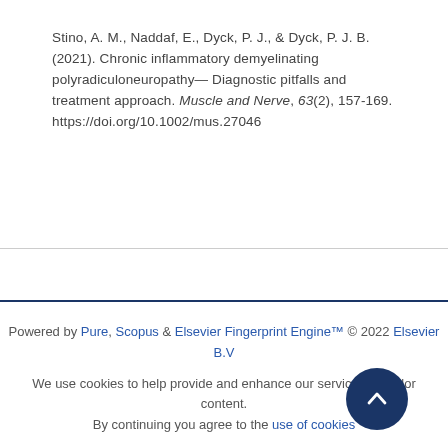Stino, A. M., Naddaf, E., Dyck, P. J., & Dyck, P. J. B. (2021). Chronic inflammatory demyelinating polyradiculoneuropathy—Diagnostic pitfalls and treatment approach. Muscle and Nerve, 63(2), 157-169. https://doi.org/10.1002/mus.27046
Powered by Pure, Scopus & Elsevier Fingerprint Engine™ © 2022 Elsevier B.V
We use cookies to help provide and enhance our service and tailor content. By continuing you agree to the use of cookies
Log in to Pure
About web accessibility
Contact us